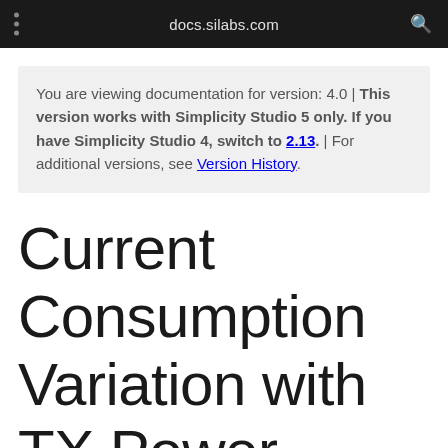docs.silabs.com
You are viewing documentation for version: 4.0 | This version works with Simplicity Studio 5 only. If you have Simplicity Studio 4, switch to 2.13. | For additional versions, see Version History.
Current Consumption Variation with TX Power